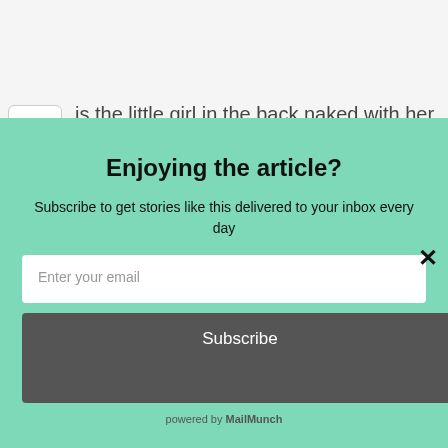Is the little girl in the back naked with her panties at her knees?
Enjoying the article?
Subscribe to get stories like this delivered to your inbox every day
Enter your email
Subscribe
powered by MailMunch